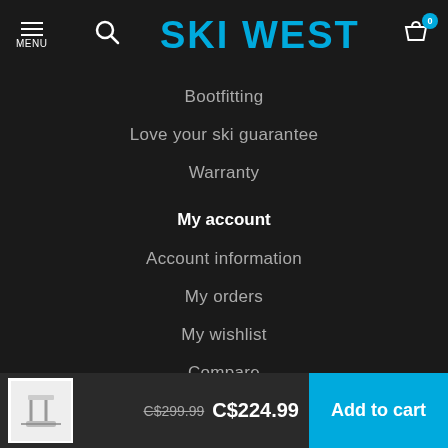MENU | Search | SKI WEST | Cart (0)
Bootfitting
Love your ski guarantee
Warranty
My account
Account information
My orders
My wishlist
Compare
All products
C$299.99 C$224.99 Add to cart